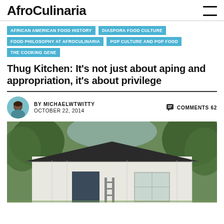AfroCulinaria
AFRICAN AMERICAN FOOD HISTORY
DIASPORA FOOD CULTURE
FOOD PHILOSOPHY AT AFROCULINARIA
POP CULTURE AND POP FOOD
THE COOKING GENE
Thug Kitchen: It’s not just about aping and appropriation, it’s about privilege
BY MICHAELWTWITTY
OCTOBER 22, 2014
COMMENTS 62
[Figure (photo): A white wooden shed/outbuilding with a dark roof surrounded by trees, with a ladder leaning against the front wall and a window visible.]